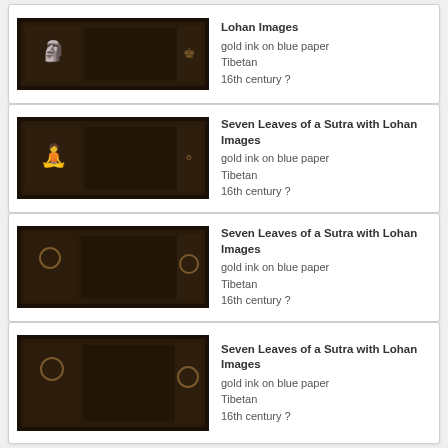[Figure (photo): Dark manuscript leaf with gold ink, Buddhist sutra with Lohan images, partial card at top]
Lohan Images
gold ink on blue paper
Tibetan
16th century ?
[Figure (photo): Dark manuscript leaf with gold ink, Buddhist sutra with Lohan images]
Seven Leaves of a Sutra with Lohan Images
gold ink on blue paper
Tibetan
16th century ?
[Figure (photo): Dark manuscript leaf with gold ink, Buddhist sutra with Lohan images]
Seven Leaves of a Sutra with Lohan Images
gold ink on blue paper
Tibetan
16th century ?
[Figure (photo): Dark manuscript leaf with gold ink, Buddhist sutra with Lohan images]
Seven Leaves of a Sutra with Lohan Images
gold ink on blue paper
Tibetan
16th century ?